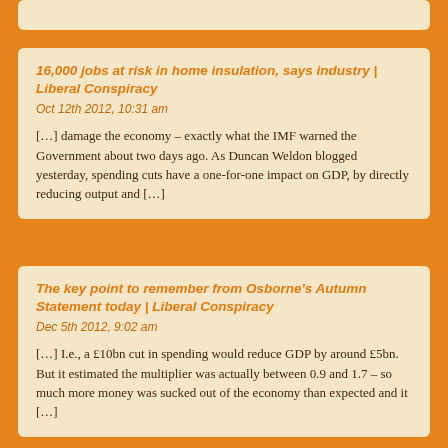16,000 jobs at risk in home insulation, says industry | Liberal Conspiracy
Oct 12th 2012, 10:31 am
[…] damage the economy – exactly what the IMF warned the Government about two days ago. As Duncan Weldon blogged yesterday, spending cuts have a one-for-one impact on GDP, by directly reducing output and […]
The key point to remember from Osborne's Autumn Statement today | Liberal Conspiracy
Dec 5th 2012, 9:02 am
[…] I.e., a £10bn cut in spending would reduce GDP by around £5bn. But it estimated the multiplier was actually between 0.9 and 1.7 – so much more money was sucked out of the economy than expected and it […]